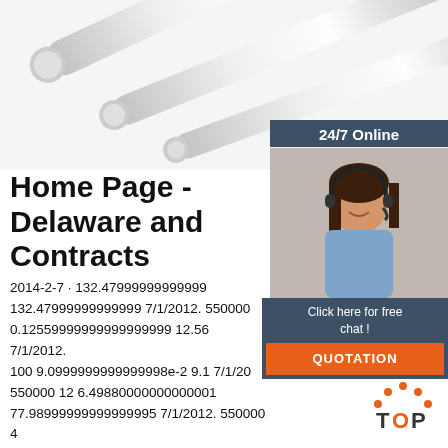[Figure (photo): Steel metal rods/bars arranged diagonally on white background]
24/7 Online
[Figure (photo): Customer service representative woman with headset, smiling]
Click here for free chat ! QUOTATION
Home Page - Delaware and Contracts
2014-2-7 · 132.47999999999999 132.47999999999999 7/1/2012. 550000 0.12559999999999999999 12.56 7/1/2012. 100 9.0999999999999998e-2 9.1 7/1/20 550000 12 6.49880000000000001 77.98999999999999995 7/1/2012. 550000 4 26.64199999999999999 106.57 7/1/2012. 550000 25 0.38340000000000000002 9.59 7/1/2012. 550000 25 0.36270000000000000002 9.07 7/1/2012. 550000
[Figure (logo): TOP logo with orange dots arranged in arc above text]